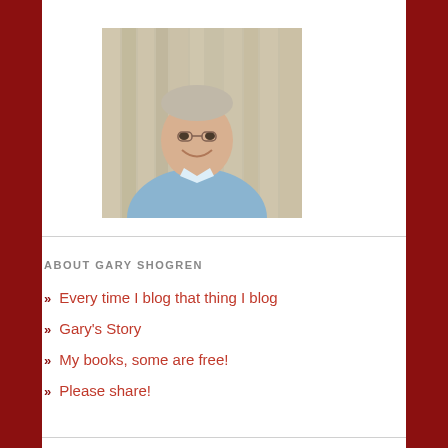[Figure (photo): Portrait photo of a middle-aged man with short gray hair wearing a light blue collared shirt, smiling, standing in front of wooden slat background outdoors]
ABOUT GARY SHOGREN
» Every time I blog that thing I blog
» Gary's Story
» My books, some are free!
» Please share!
EMAIL SUBSCRIPTION